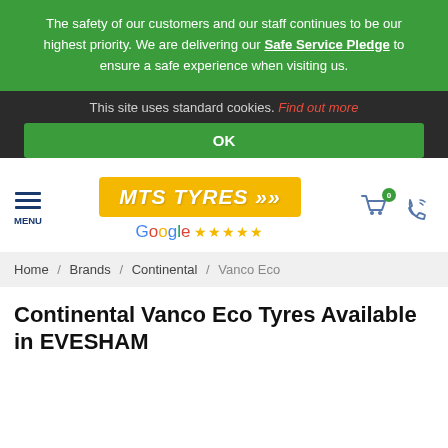The safety of our customers and our staff continues to be our highest priority. We are delivering our Safe Service Pledge to ensure a safe experience when visiting us.
This site uses standard cookies. Find out more
OK
[Figure (logo): MTS TYRES logo on yellow/orange background with chevron arrows, followed by Google five-star rating row]
Home / Brands / Continental / Vanco Eco
Continental Vanco Eco Tyres Available in EVESHAM